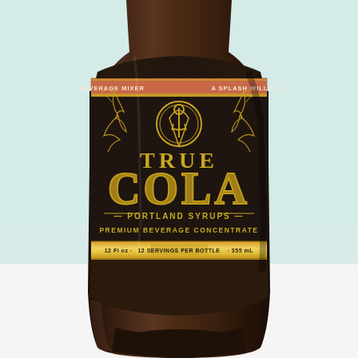[Figure (photo): A dark glass bottle with a premium label for 'True Cola' by Portland Syrups. The label is dark/black with gold and cream typography. At the top of the label is a salmon/coral band reading 'BEVERAGE MIXER' on the left and 'A SPLASH WILL DO' on the right. A gold ornate crest/logo sits at the top center. Large decorative gold flourishes flank the central crest. 'TRUE' appears in gold serif text, followed by 'COLA' in very large gold outlined letters. Below: '— PORTLAND SYRUPS —' in gold, then 'PREMIUM BEVERAGE CONCENTRATE' in smaller gold text. A gold band near the bottom reads '12 Fl oz · 12 SERVINGS PER BOTTLE · 355 mL'. The bottle is dark amber/brown glass and the background is a pale mint/teal color.]